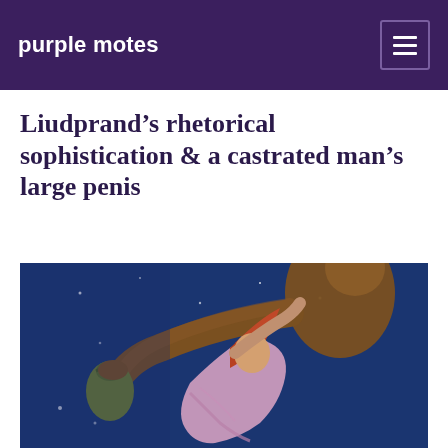purple motes
Liudprand’s rhetorical sophistication & a castrated man’s large penis
[Figure (illustration): Painterly illustration showing a large dark figure holding a bag in one outstretched fist, with a red-haired woman in a pink dress reaching upward toward the figure, set against a deep blue starry night sky background.]